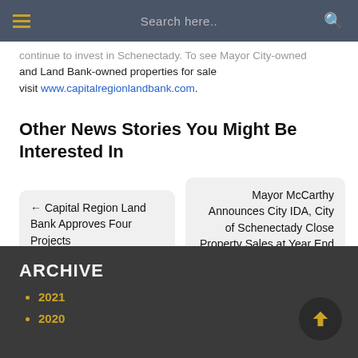Search here..
continue to invest in Schenectady. To see Mayor City-owned and Land Bank-owned properties for sale visit www.capitalregionlandbank.com.
Other News Stories You Might Be Interested In
← Capital Region Land Bank Approves Four Projects
Mayor McCarthy Announces City IDA, City of Schenectady Close Property Sales at Year End →
ARCHIVE
2021
2020